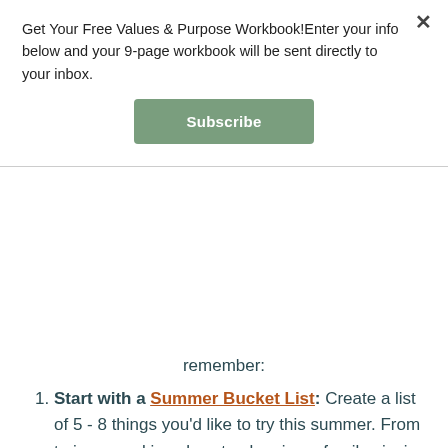Get Your Free Values & Purpose Workbook!Enter your info below and your 9-page workbook will be sent directly to your inbox.
Subscribe
remember:
Start with a Summer Bucket List: Create a list of 5 - 8 things you'd like to try this summer. From trying a cooking class to planning a family picnic, use this summer to step a bit out of your comfort zone and try new, fun activities that will create memories for you and your loved ones. If you don't cross everything off your list, don't feel discouraged! You still have time to make memories and enjoy the present